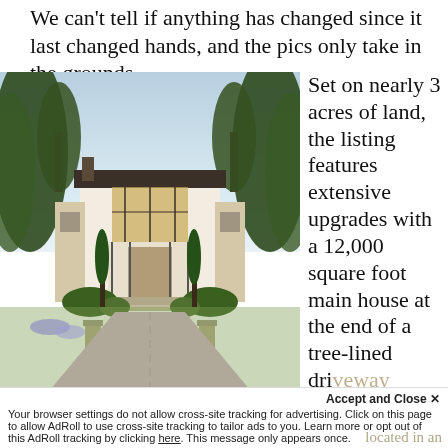We can't tell if anything has changed since it last changed hands, and the pics only take in the grounds.
[Figure (photo): Exterior photo of a large two-story luxury house with a gated driveway, surrounded by tall trees, viewed from the front driveway approach at dusk.]
Set on nearly 3 acres of land, the listing features extensive upgrades with a 12,000 square foot main house at the end of a tree-lined driveway located in an
Accept and Close ✕
Your browser settings do not allow cross-site tracking for advertising. Click on this page to allow AdRoll to use cross-site tracking to tailor ads to you. Learn more or opt out of this AdRoll tracking by clicking here. This message only appears once.